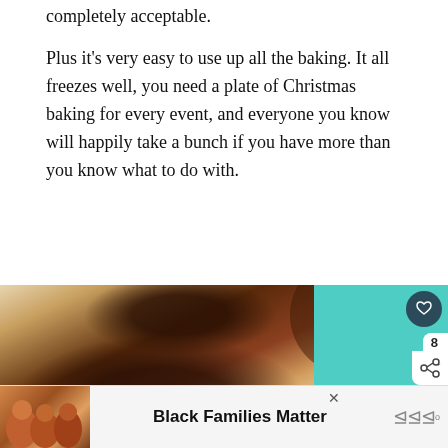completely acceptable.
Plus it’s very easy to use up all the baking. It all freezes well, you need a plate of Christmas baking for every event, and everyone you know will happily take a bunch if you have more than you know what to do with.
[Figure (photo): Photo of chocolate Christmas cookies decorated with red, green, and white sprinkles and chocolate drizzle, alongside a sidebar panel with a teal background showing a heart icon, share count of 8, a share button, and a 'What's Next' box showing '21 Christmas Cookies Tha...']
[Figure (photo): Advertisement bar at the bottom showing smiling people with text 'Black Families Matter' and a logo icon]